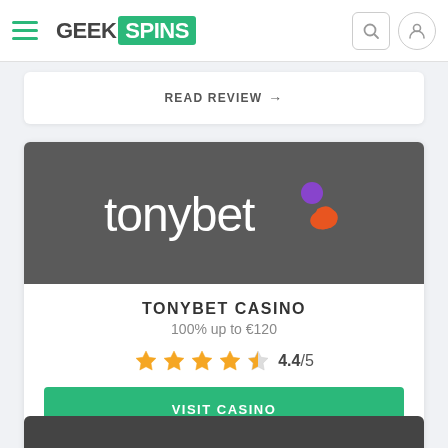GEEK SPINS
READ REVIEW →
[Figure (logo): TonyBet casino logo on dark gray background]
TONYBET CASINO
100% up to €120
4.4/5
VISIT CASINO
READ REVIEW →